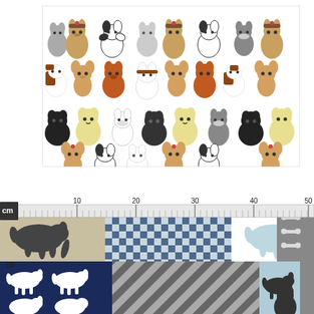[Figure (illustration): Fabric swatch showing a repeating pattern of cartoon small dogs in various breeds and colors (Yorkshire Terrier, Pug, Chihuahua, Schnauzer, Jack Russell, etc.) on a white background, arranged in rows.]
[Figure (illustration): Ruler measuring scale in cm from 0 to 50, overlaid on multiple fabric swatches showing dog-themed patterns: black Labrador on linen, blue gingham check, dog silhouettes on white, gray fabric with bones, navy fabric with white dog silhouettes, gray diagonal stripes, light blue fabric with black dogs, and gray fabric with paw prints.]